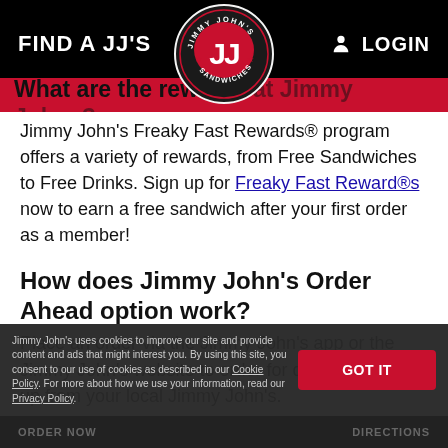FIND A JJ'S   LOGIN
[Figure (logo): Jimmy John's circular logo with red JJ letters and sandwiches text on black background]
What are the rewards at Jimmy John's?
Jimmy John's Freaky Fast Rewards® program offers a variety of rewards, from Free Sandwiches to Free Drinks. Sign up for Freaky Fast Reward®s now to earn a free sandwich after your first order as a member!
How does Jimmy John's Order Ahead option work?
Place an order via the Jimmy John's app or the Jimmy John's website to order for delivery or pick up from your local Jimmy John's.
How do I get a free sandwich from Jimmy
Jimmy John's uses cookies to improve our site and provide content and ads that might interest you. By using this site, you consent to our use of cookies as described in our Cookie Policy. For more about how we use your information, read our Privacy Policy.
ORDER NOW   DIRECTIONS